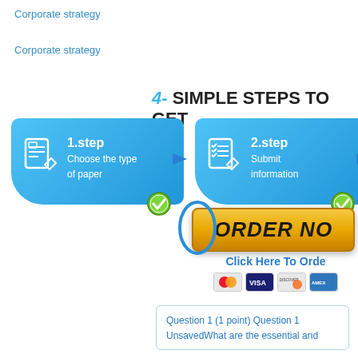Corporate strategy
Corporate strategy
[Figure (infographic): 4 Simple Steps to Get infographic showing step 1 (Choose the type of paper), step 2 (Submit information), and partial view of more steps, with an ORDER NOW button, Click Here To Order link, and payment card icons below.]
Question 1 (1 point) Question 1 UnsavedWhat are the essential and